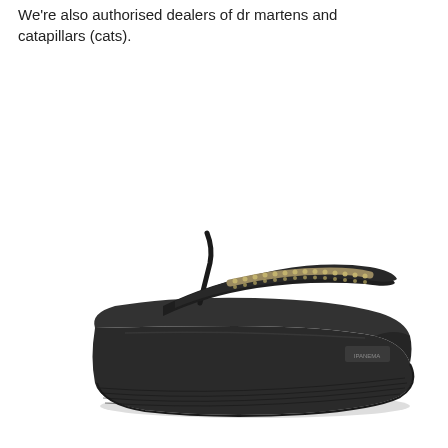We're also authorised dealers of dr martens and catapillars (cats).
[Figure (photo): A black platform wedge flip-flop sandal with decorative rhinestone-studded straps, viewed from the side. The sole is a thick black platform wedge with a ridged bottom edge.]